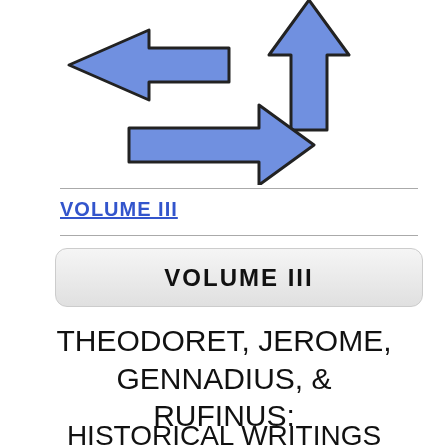[Figure (illustration): Three blue arrows: one pointing left, one pointing up-right, and one large arrow pointing right, arranged in a scattered layout on white background]
VOLUME III
VOLUME III
THEODORET, JEROME, GENNADIUS, & RUFINUS:
HISTORICAL WRITINGS